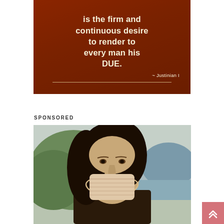[Figure (illustration): Quote card with dark reddish-brown gradient background. Text reads: 'is the firm and continuous desire to render to every man his DUE.' attributed to Justinian I, with a horizontal decorative line below.]
SPONSORED
[Figure (illustration): Modified Mona Lisa painting wearing a face mask, shown from shoulders up with landscape background.]